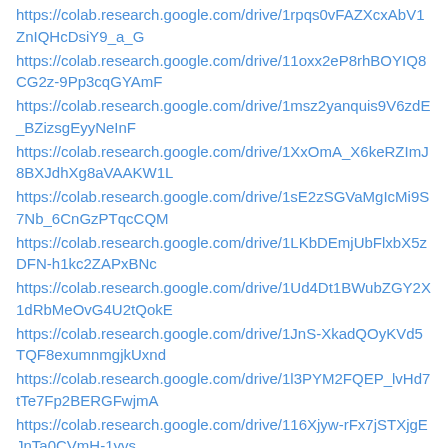https://colab.research.google.com/drive/1rpqs0vFAZXcxAbV1ZnIQHcDsiY9_a_G
https://colab.research.google.com/drive/11oxx2eP8rhBOYIQ8CG2z-9Pp3cqGYAmF
https://colab.research.google.com/drive/1msz2yanquis9V6zdE_BZizsgEyyNeInF
https://colab.research.google.com/drive/1XxOmA_X6keRZImJ8BXJdhXg8aVAAKW1L
https://colab.research.google.com/drive/1sE2zSGVaMgIcMi9S7Nb_6CnGzPTqcCQM
https://colab.research.google.com/drive/1LKbDEmjUbFlxbX5zDFN-h1kc2ZAPxBNc
https://colab.research.google.com/drive/1Ud4Dt1BWubZGY2X1dRbMeOvG4U2tQokE
https://colab.research.google.com/drive/1JnS-XkadQOyKVd5TQF8exumnmgjkUxnd
https://colab.research.google.com/drive/1l3PYM2FQEP_lvHd7tTe7Fp2BERGFwjmA
https://colab.research.google.com/drive/116Xjyw-rFx7jSTXjgEJnTa0CVmH-1yvs
https://colab.research.google.com/drive/1b...